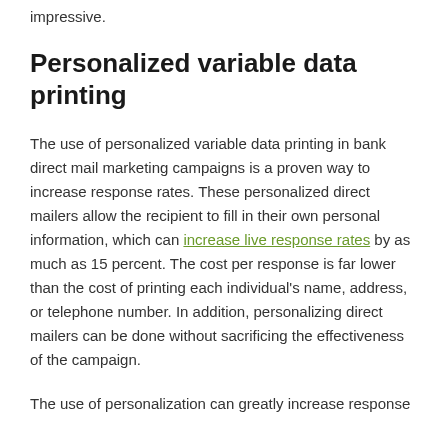impressive.
Personalized variable data printing
The use of personalized variable data printing in bank direct mail marketing campaigns is a proven way to increase response rates. These personalized direct mailers allow the recipient to fill in their own personal information, which can increase live response rates by as much as 15 percent. The cost per response is far lower than the cost of printing each individual's name, address, or telephone number. In addition, personalizing direct mailers can be done without sacrificing the effectiveness of the campaign.
The use of personalization can greatly increase response